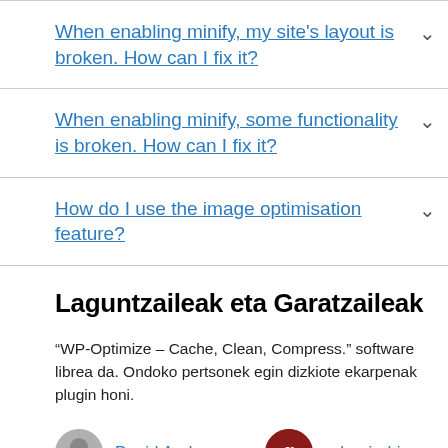When enabling minify, my site's layout is broken. How can I fix it?
When enabling minify, some functionality is broken. How can I fix it?
How do I use the image optimisation feature?
Laguntzaileak eta Garatzaileak
“WP-Optimize – Cache, Clean, Compress.” software librea da. Ondoko pertsonek egin dizkiote ekarpenak plugin honi.
David Anderson
ruhanirabin
RNuthawuro
onorton